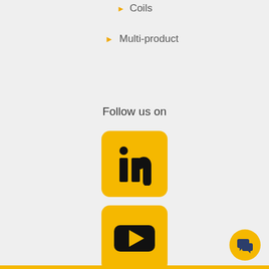Coils
Multi-product
Follow us on
[Figure (logo): LinkedIn logo icon — yellow rounded square with black 'in' lettering]
[Figure (logo): YouTube logo icon — yellow rounded square with black play button rectangle]
[Figure (illustration): Yellow circular chat button with dark blue speech bubble icons, positioned at bottom right]